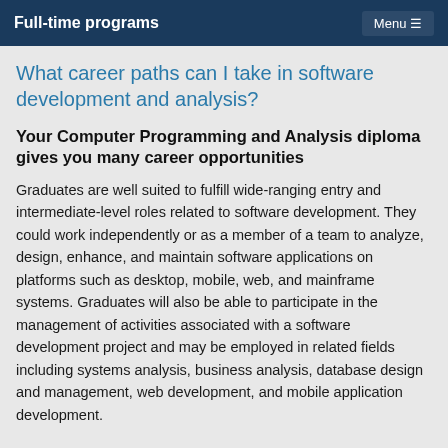Full-time programs
What career paths can I take in software development and analysis?
Your Computer Programming and Analysis diploma gives you many career opportunities
Graduates are well suited to fulfill wide-ranging entry and intermediate-level roles related to software development. They could work independently or as a member of a team to analyze, design, enhance, and maintain software applications on platforms such as desktop, mobile, web, and mainframe systems. Graduates will also be able to participate in the management of activities associated with a software development project and may be employed in related fields including systems analysis, business analysis, database design and management, web development, and mobile application development.